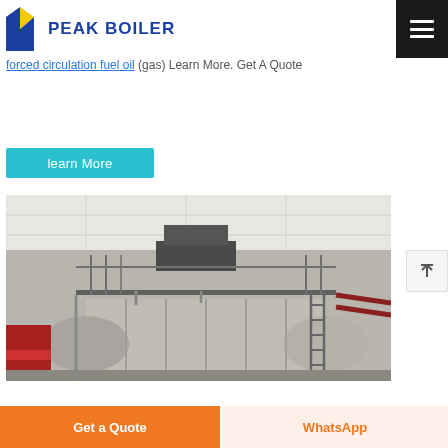PEAK BOILER
Zozen Boiler main products include gas&oil boiler coal-fired boiler biomass the Biomass-fired boiler Industrial Georgia Coal Industrial Steam BoilersDUAL Gas and 0.3ton Industrial Hot oil is quick-fitting forced circulation fuel oil (gas) Learn More. Get A Quote
learn More
[Figure (photo): Industrial boiler unit inside a facility — large horizontal cylindrical steam boiler with metallic insulation cladding, pipes, ladders, and structural framework visible]
Get a Quote
WhatsApp